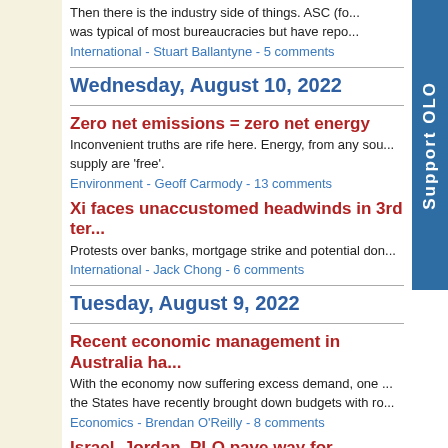Then there is the industry side of things. ASC (fo... was typical of most bureaucracies but have repo...
International - Stuart Ballantyne - 5 comments
Wednesday, August 10, 2022
Zero net emissions = zero net energy
Inconvenient truths are rife here. Energy, from any sou... supply are 'free'.
Environment - Geoff Carmody - 13 comments
Xi faces unaccustomed headwinds in 3rd ter...
Protests over banks, mortgage strike and potential don...
International - Jack Chong - 6 comments
Tuesday, August 9, 2022
Recent economic management in Australia ha...
With the economy now suffering excess demand, one... the States have recently brought down budgets with ro...
Economics - Brendan O'Reilly - 8 comments
Israel, Jordan, PLO pave way for Hashemite k...